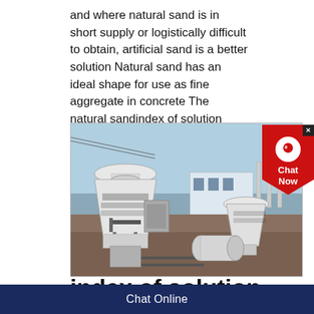and where natural sand is in short supply or logistically difficult to obtain, artificial sand is a better solution Natural sand has an ideal shape for use as fine aggregate in concrete The natural sandindex of solution sand making plant
[Figure (photo): Industrial sand making plant with large white cone crushers and cylindrical grinding mills on a construction site with blue sky]
index of solution sand
Chat Online